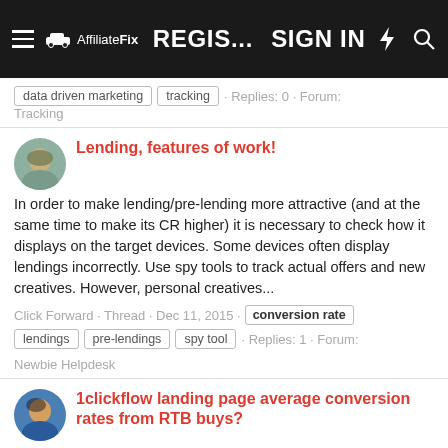AffiliateFix · REGIS... · SIGN IN
data driven marketing · tracking · Replies: 0 · Forum: Tracking
Lending, features of work!
In order to make lending/pre-lending more attractive (and at the same time to make its CR higher) it is necessary to check how it displays on the target devices. Some devices often display lendings incorrectly. Use spy tools to track actual offers and new creatives. However, personal creatives...
Click Forward · Thread · Dec 11, 2015 · conversion rate · lendings · pre-lendings · spy tool · Replies: 1 · Forum: Newbie Helpdesk
1clickflow landing page average conversion rates from RTB buys?
Has anyone tested 1clickflow campaigns using buys from RTB networks? These are offers where only 3G/4G users are targeted and the phone carrier automatically fills in the user's mobile number in the submission form. So the